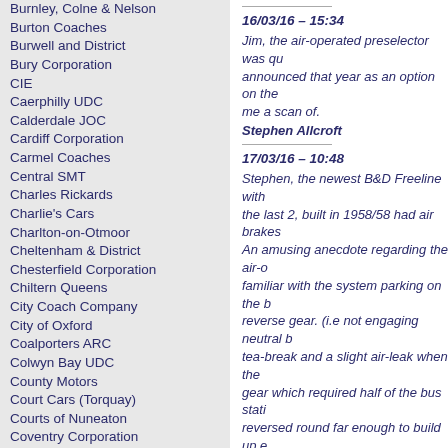Burnley, Colne & Nelson
Burton Coaches
Burwell and District
Bury Corporation
CIE
Caerphilly UDC
Calderdale JOC
Cardiff Corporation
Carmel Coaches
Central SMT
Charles Rickards
Charlie's Cars
Charlton-on-Otmoor
Cheltenham & District
Chesterfield Corporation
Chiltern Queens
City Coach Company
City of Oxford
Coalporters ARC
Colwyn Bay UDC
County Motors
Court Cars (Torquay)
Courts of Nuneaton
Coventry Corporation
Crimson Tours
Crosville
Cumberland
D. J. Jones (Crymych)
Darlington Corporation
Darwen Corporation
16/03/16 – 15:34
Jim, the air-operated preselector was qu... announced that year as an option on the... me a scan of.
Stephen Allcroft
17/03/16 – 10:48
Stephen, the newest B&D Freeline with ... the last 2, built in 1958/58 had air brakes... An amusing anecdote regarding the air-o... familiar with the system parking on the b... reverse gear. (i.e not engaging neutral b... tea-break and a slight air-leak when the ... gear which required half of the bus stati... reversed round far enough to build up e... then engage a forward gear to proceed. The same P/T driver was also embarras... for the first time. He parked in Drummer... stopped the engine. When it was time to... nothing happened as the gear selector w... moments fiddling and no sign of life the ... to call for assistance. I was a 16 year ol... what to do so made my way to the front... and pressed the starter button and we w... I don't think the driver liked being show...